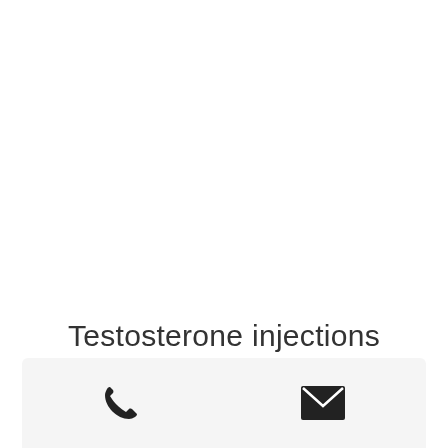Testosterone injections
[Figure (other): Bottom action bar with phone icon and email/envelope icon on a light grey background panel]